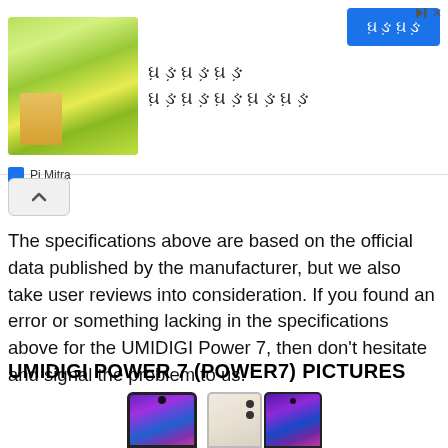[Figure (other): Advertisement banner with Gujarati text, product image (yellow-green background with box), blue button, and Pi Mitra branding]
The specifications above are based on the official data published by the manufacturer, but we also take user reviews into consideration. If you found an error or something lacking in the specifications above for the UMIDIGI Power 7, then don't hesitate and signal the problem to us.
UMIDIGI POWER 7 (POWER7) PICTURES
[Figure (photo): Two UMIDIGI Power 7 smartphones shown: front view with purple/blue swirl wallpaper and waterdrop notch, and side-by-side back+front view showing dual camera and cream/beige back with same wallpaper]